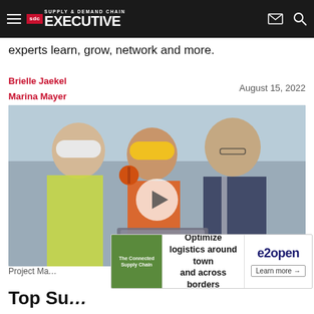Supply & Demand Chain Executive
experts learn, grow, network and more.
Brielle Jaekel
Marina Mayer
August 15, 2022
[Figure (photo): Three construction/supply chain workers—two in hard hats and safety vests, one in a business suit—reviewing a laptop outdoors, with a video play button overlay.]
Project Ma...
Top Su...
[Figure (other): Advertisement banner: e2open — 'Optimize logistics around town and across borders' with 'Learn more' button and 'The Connected Supply Chain' green logo label.]